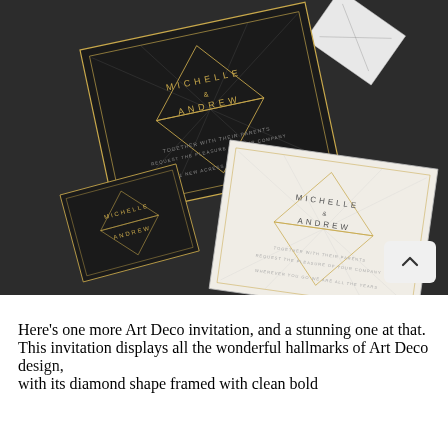[Figure (photo): Art Deco wedding invitations displayed on a dark background. Multiple cards shown: black cards with gold foil geometric diamond patterns featuring names 'MICHELLE' and 'ANDREW', and a white/cream version of the same design. Cards are arranged at various angles showing front and back.]
Here's one more Art Deco invitation, and a stunning one at that. This invitation displays all the wonderful hallmarks of Art Deco design, with its diamond shape framed with clean bold